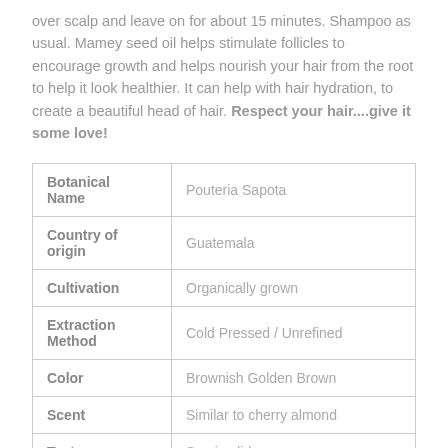over scalp and leave on for about 15 minutes. Shampoo as usual. Mamey seed oil helps stimulate follicles to encourage growth and helps nourish your hair from the root to help it look healthier. It can help with hair hydration, to create a beautiful head of hair. Respect your hair....give it some love!
|  |  |
| --- | --- |
| Botanical Name | Pouteria Sapota |
| Country of origin | Guatemala |
| Cultivation | Organically grown |
| Extraction Method | Cold Pressed / Unrefined |
| Color | Brownish Golden Brown |
| Scent | Similar to cherry almond |
| Texture | Semi-solid |
|  |  |